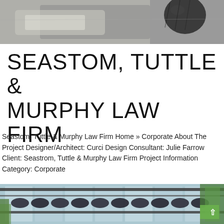[Figure (photo): Close-up photo of dark decorative objects on a metallic/fabric surface, partial view at top of page]
SEASTOM, TUTTLE & MURPHY LAW FIRM
Seastom, Tuttle & Murphy Law Firm Home » Corporate About The Project Designer/Architect: Curci Design Consultant: Julie Farrow Client: Seastrom, Tuttle & Murphy Law Firm Project Information Category: Corporate
[Figure (photo): Exterior photo of a modern office building courtyard with a glass and metal pergola/canopy structure, retractable shade panels, glass facade building, and green plant wall]